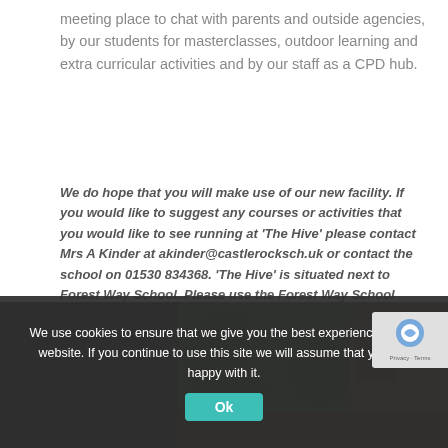meeting place to chat with parents and outside agencies, by our students for masterclasses, outdoor learning and extra curricular activities and by our staff as a CPD hub.
We do hope that you will make use of our new facility. If you would like to suggest any courses or activities that you would like to see running at 'The Hive' please contact Mrs A Kinder at akinder@castlerocksch.uk or contact the school on 01530 834368. 'The Hive' is situated next to Forest Way School. Please use the Forest Way School entrance off Warren Hills Road. Parking is available outside of the building.
[Figure (photo): Photograph of The Hive building exterior, showing trees and wooden/brick construction, with a teal Hive sign visible. Partially obscured by cookie consent overlay.]
We use cookies to ensure that we give you the best experience on our website. If you continue to use this site we will assume that you are happy with it.